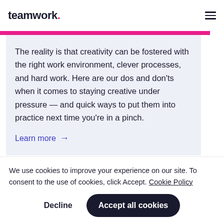teamwork.
The reality is that creativity can be fostered with the right work environment, clever processes, and hard work. Here are our dos and don'ts when it comes to staying creative under pressure — and quick ways to put them into practice next time you're in a pinch.
Learn more →
We use cookies to improve your experience on our site. To consent to the use of cookies, click Accept. Cookie Policy
Decline
Accept all cookies